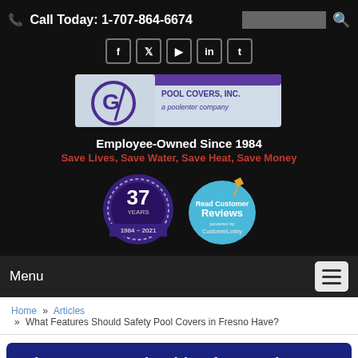Call Today: 1-707-864-6674
[Figure (logo): Pool Covers, Inc. logo with circular sigma-like emblem and company name]
Employee-Owned Since 1984
Save Lives, Save Water, Save Heat, Save Money
[Figure (infographic): 37 Years 1984-2021 anniversary badge and Read Customer Reviews badge]
Menu
Home » Articles » What Features Should Safety Pool Covers in Fresno Have?
What Features Should Safety Pool Covers in Fresno Have?